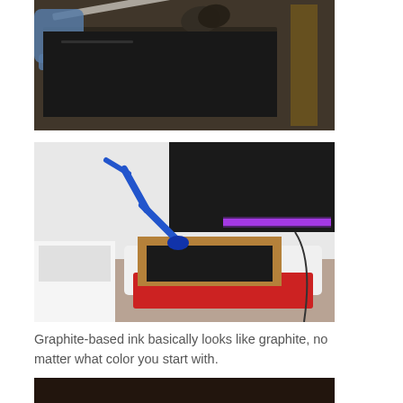[Figure (photo): Close-up photo of a gloved hand holding a spatula spreading dark graphite-based ink over a flat dark surface on a wooden frame.]
[Figure (photo): Photo of a screen printing setup with a blue articulated arm lamp emitting UV light, a wooden screen frame with dark graphite ink on a white table, and a red tray beneath it.]
Graphite-based ink basically looks like graphite, no matter what color you start with.
[Figure (photo): Partial photo at the bottom of the page, partially cut off, showing a dark scene.]